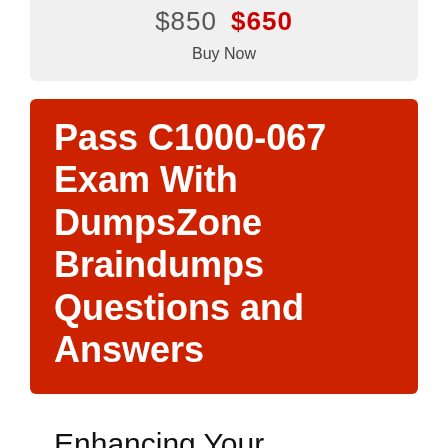$850  $650
Buy Now
Pass C1000-067 Exam With DumpsZone Braindumps Questions and Answers
Enhancing Your Employability and Career Prospects With DumpsZone Questions and Answers